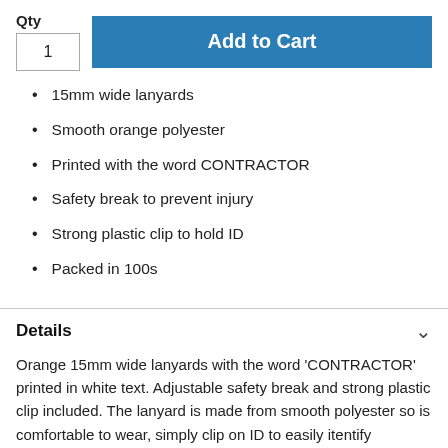Qty
1
Add to Cart
15mm wide lanyards
Smooth orange polyester
Printed with the word CONTRACTOR
Safety break to prevent injury
Strong plastic clip to hold ID
Packed in 100s
Details
Orange 15mm wide lanyards with the word 'CONTRACTOR' printed in white text. Adjustable safety break and strong plastic clip included. The lanyard is made from smooth polyester so is comfortable to wear, simply clip on ID to easily itentify contractors. If pulled or caught the safety break will ensure the lanyard safely releases